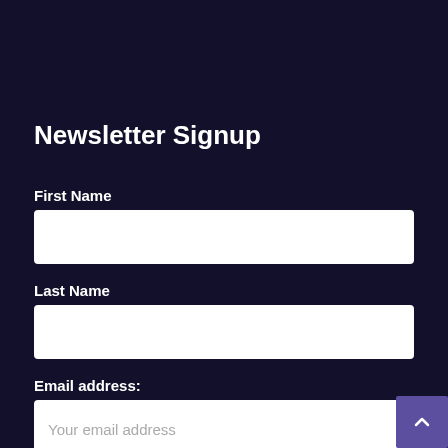Newsletter Signup
First Name
Last Name
Email address:
Your email address